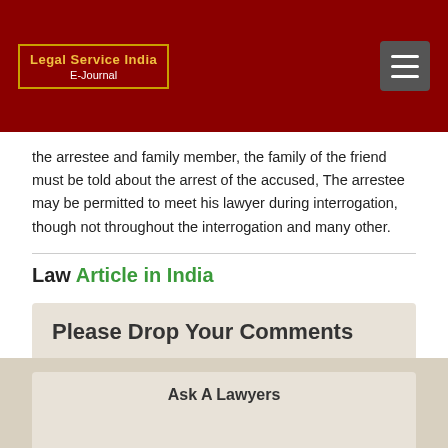Legal Service India E-Journal
the arrestee and family member, the family of the friend must be told about the arrest of the accused, The arrestee may be permitted to meet his lawyer during interrogation, though not throughout the interrogation and many other.
Law Article in India
Please Drop Your Comments
Ask A Lawyers